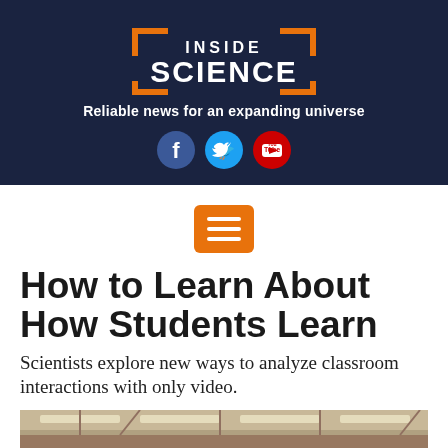[Figure (logo): Inside Science logo with orange bracket frame on dark navy background]
Reliable news for an expanding universe
[Figure (infographic): Social media icons: Facebook, Twitter, YouTube on dark navy background]
[Figure (infographic): Orange hamburger menu button with three white horizontal lines]
How to Learn About How Students Learn
Scientists explore new ways to analyze classroom interactions with only video.
[Figure (photo): Partial view of a classroom ceiling with fluorescent lights]